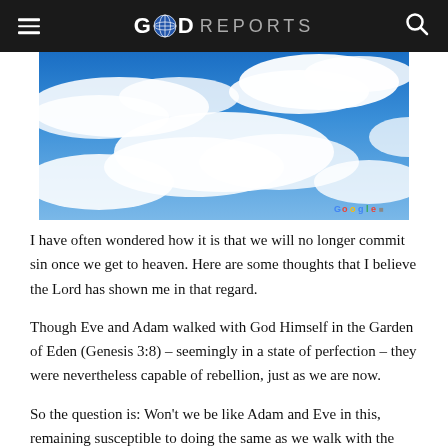GOD REPORTS
[Figure (photo): Sky with blue sky and white clouds, Google logo watermark in bottom right corner]
I have often wondered how it is that we will no longer commit sin once we get to heaven. Here are some thoughts that I believe the Lord has shown me in that regard.
Though Eve and Adam walked with God Himself in the Garden of Eden (Genesis 3:8) – seemingly in a state of perfection – they were nevertheless capable of rebellion, just as we are now.
So the question is: Won't we be like Adam and Eve in this, remaining susceptible to doing the same as we walk with the Lord in the heavens? Can the...